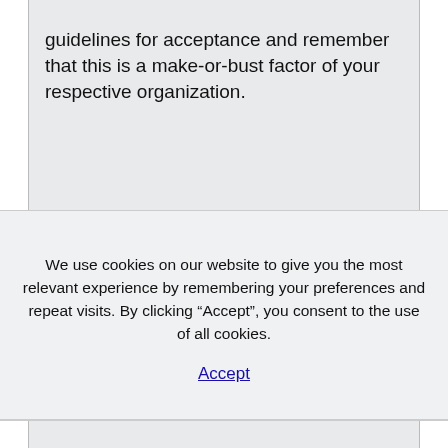guidelines for acceptance and remember that this is a make-or-bust factor of your respective organization.
We use cookies on our website to give you the most relevant experience by remembering your preferences and repeat visits. By clicking “Accept”, you consent to the use of all cookies.
Accept
Mentioned previously in the beginning, getting an energetic existence for the online businesses is vital in today’s business economic climate and industry. Custom...